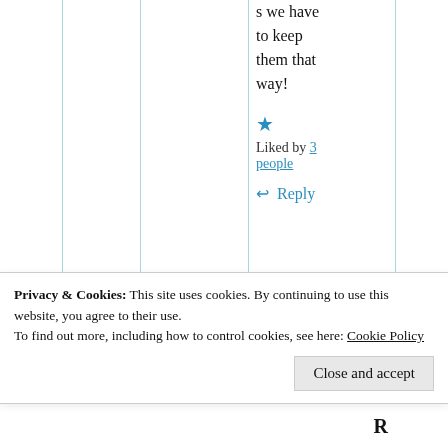s we have to keep them that way!
Liked by 3 people
Reply
Privacy & Cookies: This site uses cookies. By continuing to use this website, you agree to their use. To find out more, including how to control cookies, see here: Cookie Policy
Close and accept
R